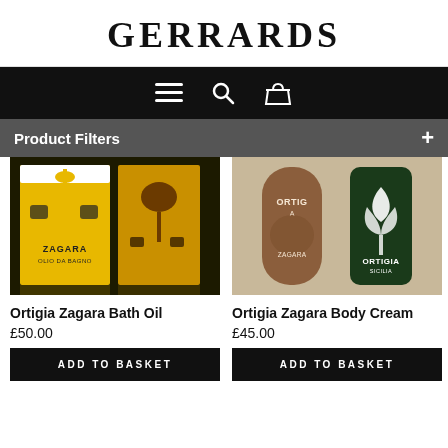GERRARDS
[Figure (screenshot): Navigation bar with hamburger menu, search, and basket icons on black background]
Product Filters +
[Figure (photo): Ortigia Zagara Bath Oil product box in yellow with decorative motifs]
[Figure (photo): Ortigia Zagara Body Cream product bottle in dark green with white leaf design]
Ortigia Zagara Bath Oil
£50.00
ADD TO BASKET
Ortigia Zagara Body Cream
£45.00
ADD TO BASKET